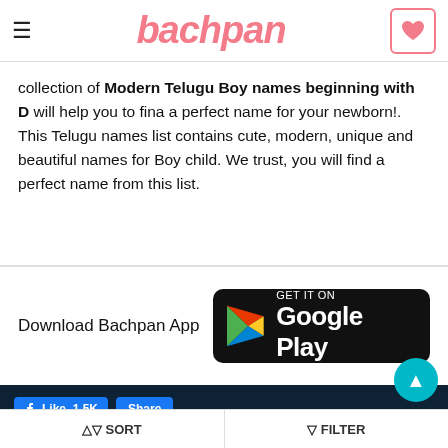bachpan
collection of Modern Telugu Boy names beginning with D will help you to fina a perfect name for your newborn!. This Telugu names list contains cute, modern, unique and beautiful names for Boy child. We trust, you will find a perfect name from this list.
Download Bachpan App
[Figure (logo): Google Play store download button with play triangle icon, white text on black background reading GET IT ON Google Play]
[Figure (infographic): Facebook Like 1.5K and Share buttons in blue on dark navy background]
Copyright © 2022 Bachpan.com. All rights reserved.   Privacy P...
SORT   FILTER